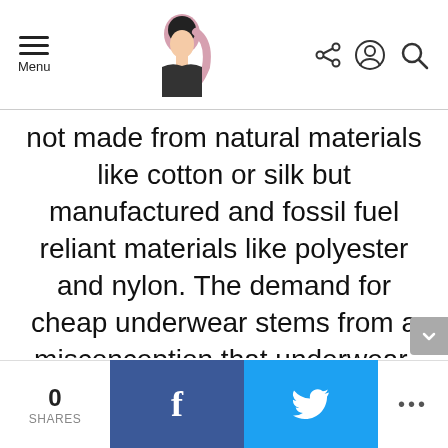Menu [logo] [share icon] [user icon] [search icon]
not made from natural materials like cotton or silk but manufactured and fossil fuel reliant materials like polyester and nylon. The demand for cheap underwear stems from a misconception that underwear, as a rule, should be bought with the intention of throwing it away relatively shortly after. To make any real impact in tackling the fast fashion industry and its effect on the environment, this misconception
0 SHARES  f  [Twitter bird]  ...